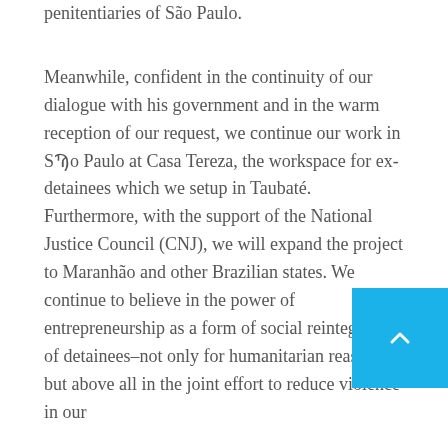penitentiaries of São Paulo.
Meanwhile, confident in the continuity of our dialogue with his government and in the warm reception of our request, we continue our work in São Paulo at Casa Tereza, the workspace for ex-detainees which we setup in Taubaté. Furthermore, with the support of the National Justice Council (CNJ), we will expand the project to Maranhão and other Brazilian states. We continue to believe in the power of entrepreneurship as a form of social reintegration of detainees–not only for humanitarian reasons, but above all in the joint effort to reduce violence in our